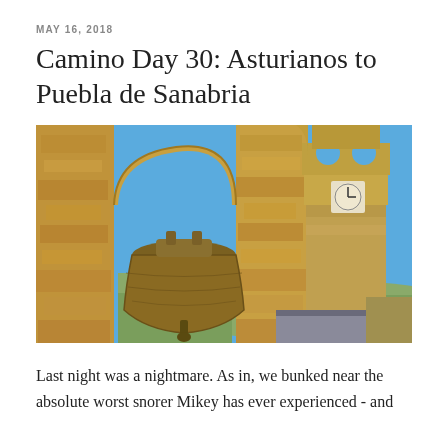MAY 16, 2018
Camino Day 30: Asturianos to Puebla de Sanabria
[Figure (photo): Close-up view of a large bronze church bell in a stone bell tower archway, with a multi-tiered stone church tower featuring a clock face visible in the background against a bright blue sky, with rolling countryside below.]
Last night was a nightmare. As in, we bunked near the absolute worst snorer Mikey has ever experienced - and